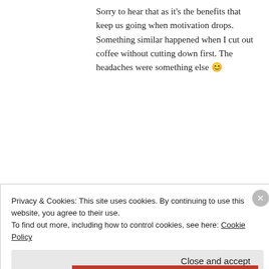Sorry to hear that as it's the benefits that keep us going when motivation drops. Something similar happened when I cut out coffee without cutting down first. The headaches were something else 😊
★ Like
REPLY
Advertisements
Privacy & Cookies: This site uses cookies. By continuing to use this website, you agree to their use.
To find out more, including how to control cookies, see here: Cookie Policy
Close and accept